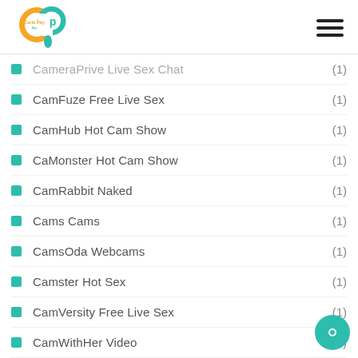Carib Pay App logo and hamburger menu
CameraPrive Live Sex Chat (1)
CamFuze Free Live Sex (1)
CamHub Hot Cam Show (1)
CaMonster Hot Cam Show (1)
CamRabbit Naked (1)
Cams Cams (1)
CamsOda Webcams (1)
Camster Hot Sex (1)
CamVersity Free Live Sex (1)
CamWithHer Video (1)
Car Title Loans Florida Online (1)